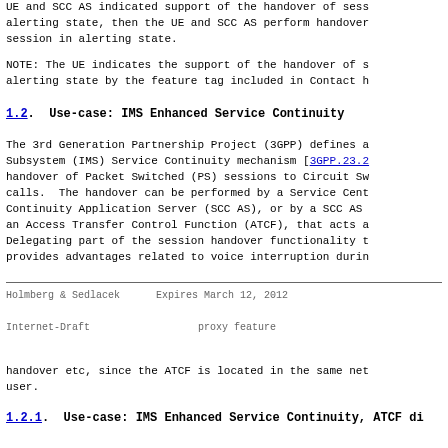UE and SCC AS indicated support of the handover of session in alerting state, then the UE and SCC AS perform handover of the session in alerting state.
NOTE: The UE indicates the support of the handover of session in alerting state by the feature tag included in Contact header.
1.2.  Use-case: IMS Enhanced Service Continuity
The 3rd Generation Partnership Project (3GPP) defines a IP Multimedia Subsystem (IMS) Service Continuity mechanism [3GPP.23.2...] for handover of Packet Switched (PS) sessions to Circuit Switched (CS) calls.  The handover can be performed by a Service Centralization and Continuity Application Server (SCC AS), or by a SCC AS together with an Access Transfer Control Function (ATCF), that acts as a SIP proxy. Delegating part of the session handover functionality to an ATCF provides advantages related to voice interruption during handover etc, since the ATCF is located in the same network as the user.
Holmberg & Sedlacek         Expires March 12, 2012
Internet-Draft                      proxy feature
handover etc, since the ATCF is located in the same net user.
1.2.1.  Use-case: IMS Enhanced Service Continuity, ATCF di